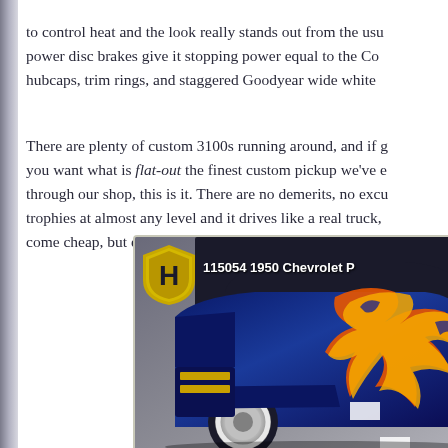to control heat and the look really stands out from the usu power disc brakes give it stopping power equal to the Co hubcaps, trim rings, and staggered Goodyear wide white
There are plenty of custom 3100s running around, and if you want what is flat-out the finest custom pickup we've e through our shop, this is it. There are no demerits, no excu trophies at almost any level and it drives like a real truck, come cheap, but even at this price, this truck is a bargain
[Figure (photo): Photo of a 1950 Chevrolet pickup truck with custom blue paint and orange/yellow flame graphics, shown at an angle. A gold shield badge with 'H' is overlaid in the upper left corner, with the listing text '115054 1950 Chevrolet P' visible next to it.]